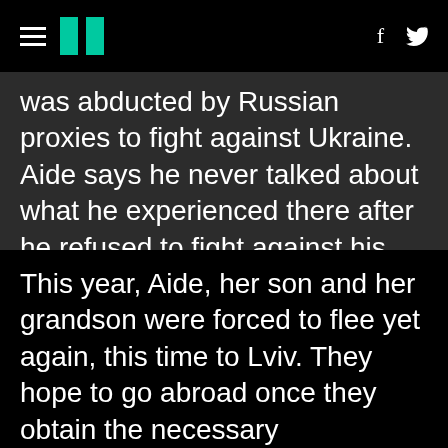≡ ǁ  f 𝕏
was abducted by Russian proxies to fight against Ukraine. Aide says he never talked about what he experienced there after he refused to fight against his own country.
This year, Aide, her son and her grandson were forced to flee yet again, this time to Lviv. They hope to go abroad once they obtain the necessary documents.